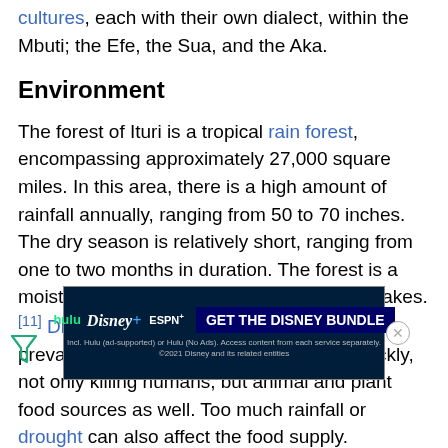cultures, each with their own dialect, within the Mbuti; the Efe, the Sua, and the Aka.
Environment
The forest of Ituri is a tropical rain forest, encompassing approximately 27,000 square miles. In this area, there is a high amount of rainfall annually, ranging from 50 to 70 inches. The dry season is relatively short, ranging from one to two months in duration. The forest is a moist, humid region strewn with rivers and lakes.[11] Diseases such as sleeping sickness, are prevalent in the forests and can spread quickly, not only killing humans, but animal and plant food sources as well. Too much rainfall or drought can also affect the food supply.
[Figure (other): Advertisement banner for Disney Bundle (Hulu, Disney+, ESPN+). Dark blue background with logos and 'GET THE DISNEY BUNDLE' call-to-action button.]
Lifestyle
The Mb... [obscured] ...lived, leading a very traditional way of life in the forest. They live